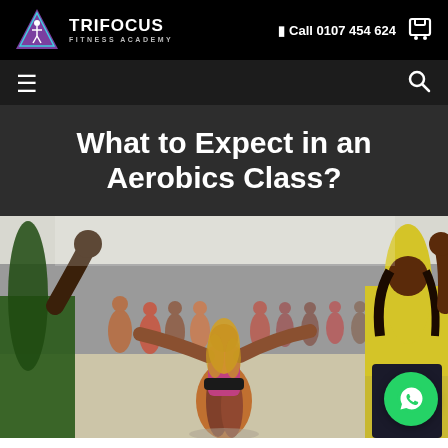TRIFOCUS FITNESS ACADEMY | Call 0107 454 624
What to Expect in an Aerobics Class?
[Figure (photo): A large group aerobics class in a gym hall. An instructor with long blonde hair and colorful patterned leggings faces away from the camera, arms spread wide. Participants follow along. A woman in a yellow top is visible on the right side in the foreground.]